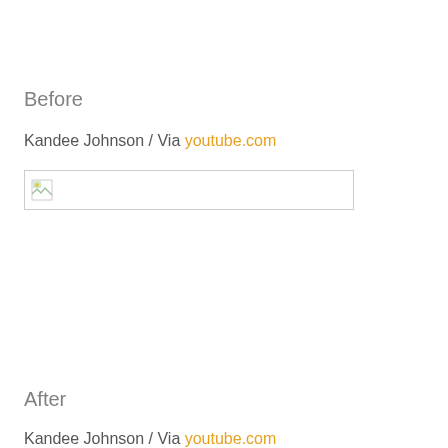Before
Kandee Johnson / Via youtube.com
[Figure (photo): Broken image placeholder with small broken image icon and border]
After
Kandee Johnson / Via youtube.com